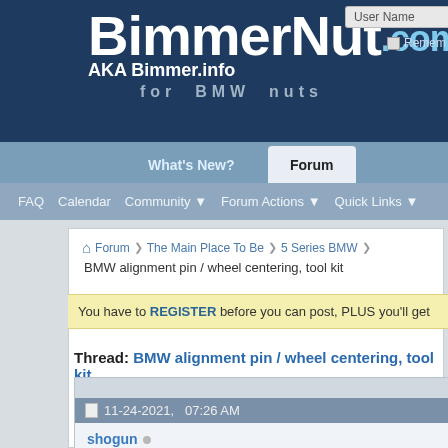[Figure (screenshot): BimmerNut.com website header with logo, navigation tabs (What's New?, Forum), secondary nav (FAQ, Calendar, Community, Forum Actions, Quick Links), User Name input and Remember Me checkbox on the right]
Forum ❯ The Main Place To Be ❯ 5 Series BMW ❯
BMW alignment pin / wheel centering, tool kit
You have to REGISTER before you can post, PLUS you'll get
Thread: BMW alignment pin / wheel centering, tool kit
11-24-2021,   07:26 AM
shogun ○
Super Moderator